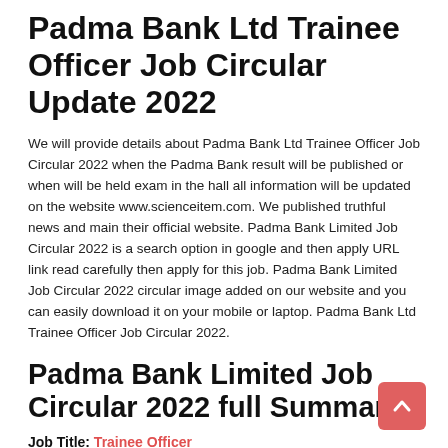Padma Bank Ltd Trainee Officer Job Circular Update 2022
We will provide details about Padma Bank Ltd Trainee Officer Job Circular 2022 when the Padma Bank result will be published or when will be held exam in the hall all information will be updated on the website www.scienceitem.com. We published truthful news and main their official website. Padma Bank Limited Job Circular 2022 is a search option in google and then apply URL link read carefully then apply for this job. Padma Bank Limited Job Circular 2022 circular image added on our website and you can easily download it on your mobile or laptop. Padma Bank Ltd Trainee Officer Job Circular 2022.
Padma Bank Limited Job Circular 2022 full Summary
Job Title: Trainee Officer